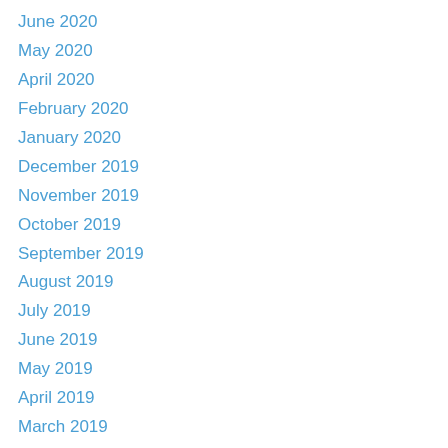June 2020
May 2020
April 2020
February 2020
January 2020
December 2019
November 2019
October 2019
September 2019
August 2019
July 2019
June 2019
May 2019
April 2019
March 2019
January 2019
December 2018
November 2018
October 2018
September 2018